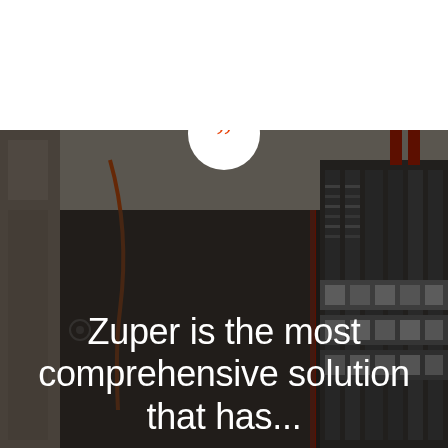[Figure (photo): Dark-toned photo of an electrical panel or control cabinet with bundled cables and wiring, overlaid with a semi-transparent dark overlay. A white circle with orange closing quotation marks sits at the top center of the image.]
Zuper is the most comprehensive solution that has...